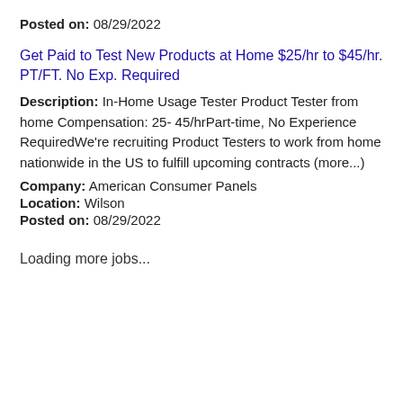Posted on: 08/29/2022
Get Paid to Test New Products at Home $25/hr to $45/hr. PT/FT. No Exp. Required
Description: In-Home Usage Tester Product Tester from home Compensation: 25- 45/hrPart-time, No Experience RequiredWe're recruiting Product Testers to work from home nationwide in the US to fulfill upcoming contracts (more...)
Company: American Consumer Panels
Location: Wilson
Posted on: 08/29/2022
Loading more jobs...